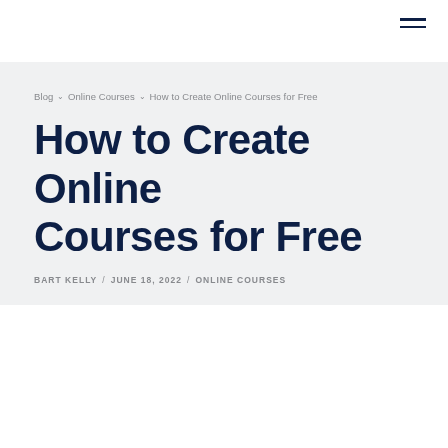Blog > Online Courses > How to Create Online Courses for Free
How to Create Online Courses for Free
BART KELLY / JUNE 18, 2022 / ONLINE COURSES